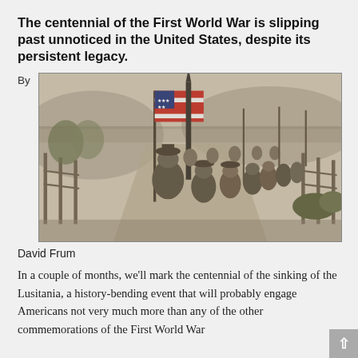The centennial of the First World War is slipping past unnoticed in the United States, despite its persistent legacy.
By
[Figure (photo): Black and white historical photograph of American soldiers marching in a column, carrying an American flag, on a road with fences on either side and mountains or hills in the background.]
David Frum
In a couple of months, we'll mark the centennial of the sinking of the Lusitania, a history-bending event that will probably engage Americans not very much more than any of the other commemorations of the First World War